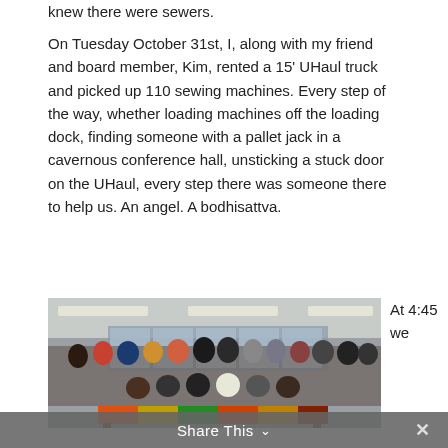knew there were sewers.
On Tuesday October 31st, I, along with my friend and board member, Kim, rented a 15' UHaul truck and picked up 110 sewing machines. Every step of the way, whether loading machines off the loading dock, finding someone with a pallet jack in a cavernous conference hall, unsticking a stuck door on the UHaul, every step there was someone there to help us. An angel. A bodhisattva.
[Figure (photo): Group photo of approximately 25-30 people posing together in what appears to be a community center or school cafeteria. A colorful quilt is displayed on a table in the foreground.]
At 4:45 we
Share This ∨   ×